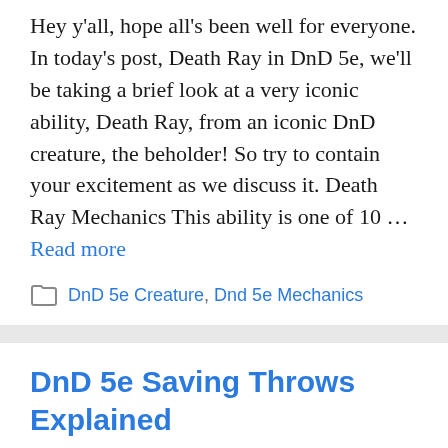Hey y'all, hope all's been well for everyone. In today's post, Death Ray in DnD 5e, we'll be taking a brief look at a very iconic ability, Death Ray, from an iconic DnD creature, the beholder! So try to contain your excitement as we discuss it. Death Ray Mechanics This ability is one of 10 … Read more
DnD 5e Creature, Dnd 5e Mechanics
DnD 5e Saving Throws Explained
[Figure (other): Partial image showing bold text 'DND 5E SAVING' at the bottom of the page, cropped]